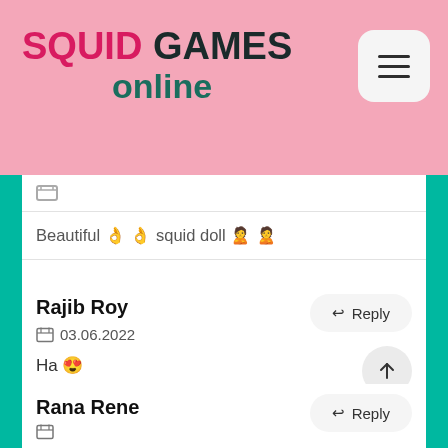SQUID GAMES online
Beautiful 👌👌 squid doll 🙎🙎
Rajib Roy
03.06.2022
Ha 😍
Rana Rene